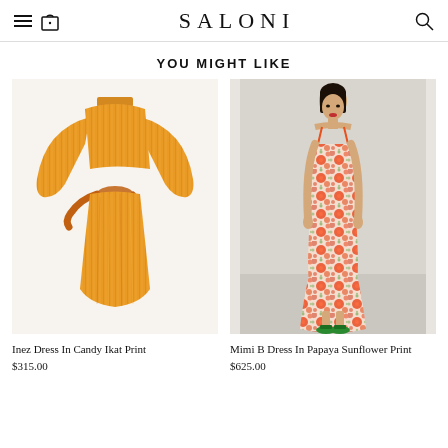SALONI
YOU MIGHT LIKE
[Figure (photo): Orange/amber long-sleeve belted midi dress with ikat stripe print, shown as a flat lay on white background]
Inez Dress In Candy Ikat Print
$315.00
[Figure (photo): Model wearing a floral slip maxi dress in papaya/red sunflower print with spaghetti straps, shown on grey background with green heeled sandals]
Mimi B Dress In Papaya Sunflower Print
$625.00